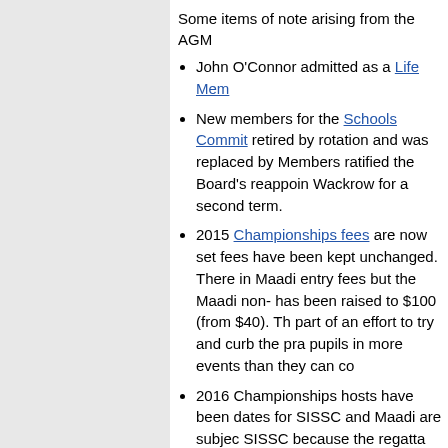Some items of note arising from the AGM
John O'Connor admitted as a Life Member
New members for the Schools Committee retired by rotation and was replaced by Members ratified the Board's reappointment Wackrow for a second term.
2015 Championships fees are now set fees have been kept unchanged. There in Maadi entry fees but the Maadi non- has been raised to $100 (from $40). The part of an effort to try and curb the practice pupils in more events than they can co
2016 Championships hosts have been dates for SISSC and Maadi are subject SISSC because the regatta duration Maadi because it is so late in the year.
Financial provisions of the Constitution (Articles 9 and 15)
Rule 4.4 was changed to allow the use stretchers with quick-release systems.
'Nike tick' draws have been ruled out for regattas
The Constitution and Rules have now all b